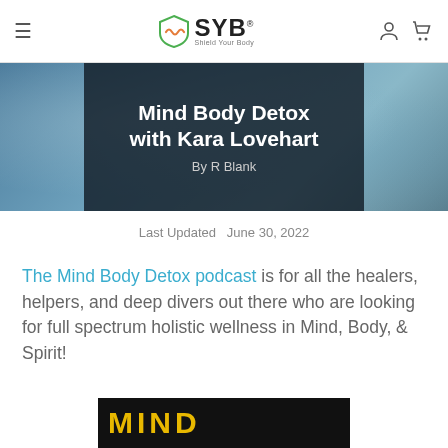SYB Shield Your Body
[Figure (photo): Hero banner image showing two people outdoors with a dark semi-transparent overlay box containing the article title and author]
Mind Body Detox with Kara Lovehart
By R Blank
Last Updated  June 30, 2022
The Mind Body Detox podcast is for all the healers, helpers, and deep divers out there who are looking for full spectrum holistic wellness in Mind, Body, & Spirit!
[Figure (photo): Bottom portion of a podcast cover image showing the text MIND in gold letters on black background]